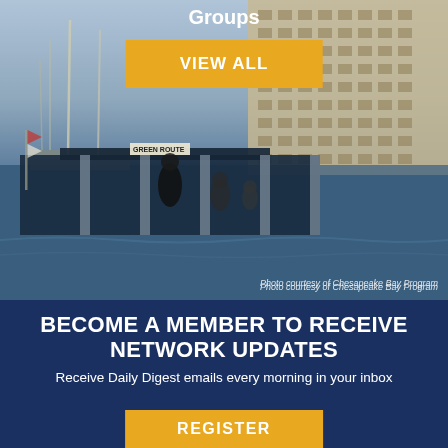Groups
VIEW ALL
[Figure (photo): Harbor/marina scene with ferry boat showing 'GREEN ROUTE' sign, people on dock, sailboat masts, city buildings in background, waterway visible. Photo courtesy of Chesapeake Bay Program.]
Photo courtesy of Chesapeake Bay Program
BECOME A MEMBER TO RECEIVE NETWORK UPDATES
Receive Daily Digest emails every morning in your inbox
REGISTER